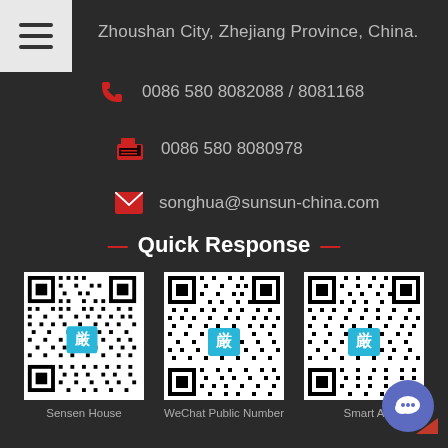Zhoushan City, Zhejiang Province, China.
0086 580 8082088 / 8081168
0086 580 8080978
songhua@sunsun-china.com
Quick Response
[Figure (other): QR code for Sensen House]
Sensen House
[Figure (other): QR code for WeChat Public Number]
WeChat Public Number
[Figure (other): QR code for Smart A (partially visible)]
Smart A